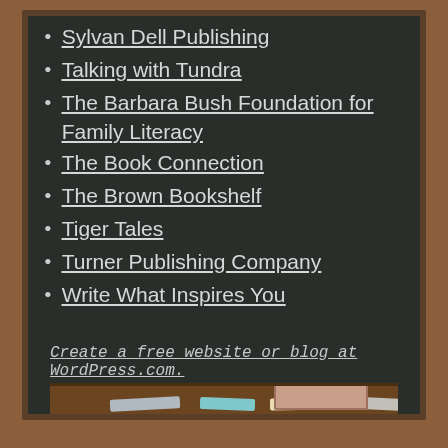Sylvan Dell Publishing
Talking with Tundra
The Barbara Bush Foundation for Family Literacy
The Book Connection
The Brown Bookshelf
Tiger Tales
Turner Publishing Company
Write What Inspires You
Create a free website or blog at WordPress.com.